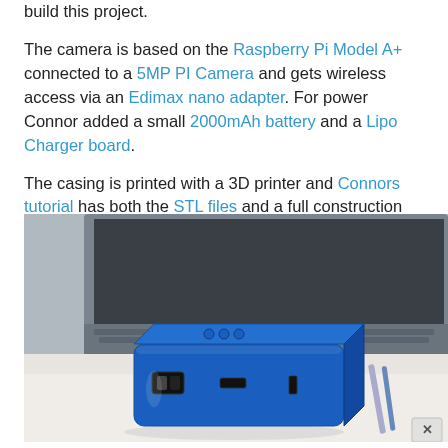build this project. The camera is based on the Raspberry Pi Model A+ connected to a 5MP PI Camera and gets wireless access via an Edimax nano adapter. For power Connor added a small 2000mAh battery and a Lipo Charger board. The casing is printed with a 3D printer and Connors tutorial has both the STL files and a full construction tutorial.
[Figure (photo): Photo of a small blue 3D-printed box (camera enclosure) with a power switch and micro USB port on the front, sitting on a white surface with a laptop keyboard and pens visible in the background.]